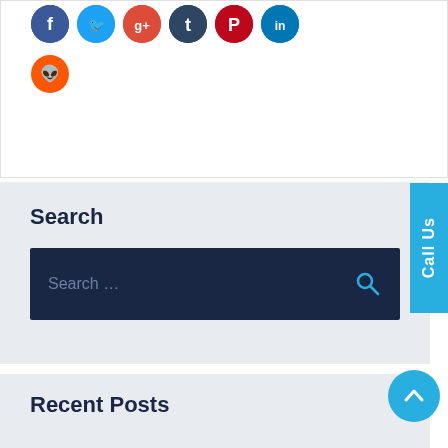[Figure (screenshot): Social media share buttons: Facebook (blue), Twitter (light blue), Google+ (red), Tumblr (dark blue), Pinterest (dark red), LinkedIn (blue), Reddit (orange) icon circles]
[Figure (screenshot): Call Us vertical tab button in light blue on right side]
Search
[Figure (screenshot): Dark navy search bar with placeholder text 'Search ...' and a blue magnifying glass icon on the right]
[Figure (screenshot): Light blue circular up-arrow (chevron) button]
Recent Posts